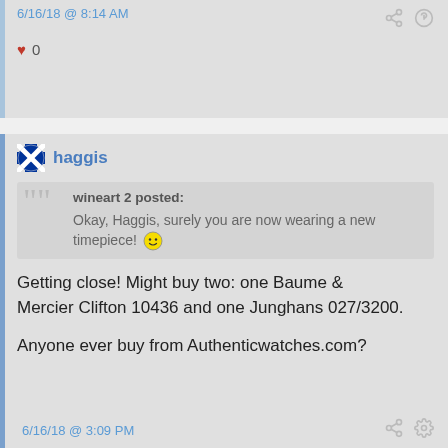6/16/18 @ 8:14 AM
♥ 0
haggis
wineart 2 posted:
Okay, Haggis, surely you are now wearing a new timepiece! 😊
Getting close!  Might buy two:  one Baume & Mercier Clifton 10436 and one Junghans 027/3200.
Anyone ever buy from Authenticwatches.com?
6/16/18 @ 3:09 PM